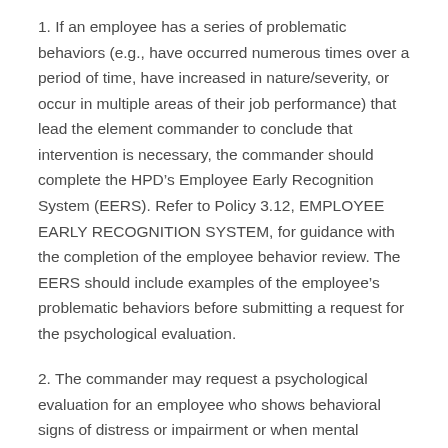1. If an employee has a series of problematic behaviors (e.g., have occurred numerous times over a period of time, have increased in nature/severity, or occur in multiple areas of their job performance) that lead the element commander to conclude that intervention is necessary, the commander should complete the HPDâ€™s Employee Early Recognition System (EERS). Refer to Policy 3.12, EMPLOYEE EARLY RECOGNITION SYSTEM, for guidance with the completion of the employee behavior review. The EERS should include examples of the employeeâ€™s problematic behaviors before submitting a request for the psychological evaluation.
2. The commander may request a psychological evaluation for an employee who shows behavioral signs of distress or impairment or when mental instability is reasonably suspected. The signs should indicate that the behavior of the employee: